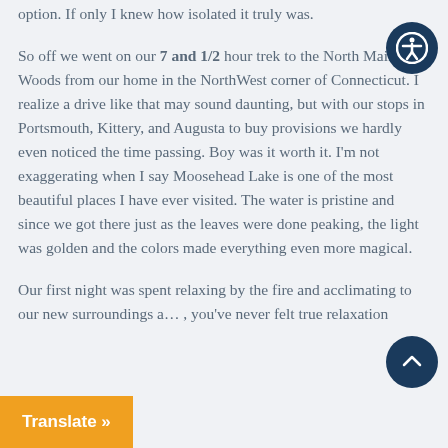option. If only I knew how isolated it truly was.

So off we went on our 7 and 1/2 hour trek to the North Maine Woods from our home in the NorthWest corner of Connecticut. I realize a drive like that may sound daunting, but with our stops in Portsmouth, Kittery, and Augusta to buy provisions we hardly even noticed the time passing. Boy was it worth it. I'm not exaggerating when I say Moosehead Lake is one of the most beautiful places I have ever visited. The water is pristine and since we got there just as the leaves were done peaking, the light was golden and the colors made everything even more magical.

Our first night was spent relaxing by the fire and acclimating to our new surroundings a... , you've never felt true relaxation